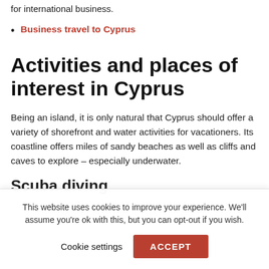for international business.
Business travel to Cyprus
Activities and places of interest in Cyprus
Being an island, it is only natural that Cyprus should offer a variety of shorefront and water activities for vacationers. Its coastline offers miles of sandy beaches as well as cliffs and caves to explore – especially underwater.
Scuba diving
This website uses cookies to improve your experience. We'll assume you're ok with this, but you can opt-out if you wish.